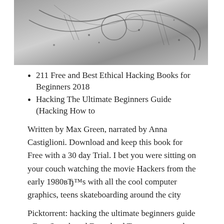[Figure (photo): Black and white photo showing tangled wires or cables against a light background]
211 Free and Best Ethical Hacking Books for Beginners 2018
Hacking The Ultimate Beginners Guide (Hacking How to
Written by Max Green, narrated by Anna Castiglioni. Download and keep this book for Free with a 30 day Trial. I bet you were sitting on your couch watching the movie Hackers from the early 1980вЂ™s with all the cool computer graphics, teens skateboarding around the city
Picktorrent: hacking the ultimate beginners guide - Free Search and Download Torrents at search engine. Download Music, TV Shows,